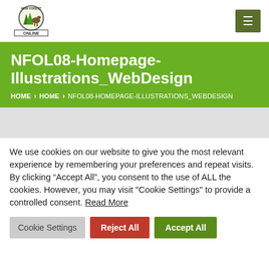[Figure (logo): New Forest Online circular logo with trees and horse silhouette, text ONLINE below]
NFOL08-Homepage-Illustrations_WebDesign
HOME > HOME > NFOL08-HOMEPAGE-ILLUSTRATIONS_WEBDESIGN
We use cookies on our website to give you the most relevant experience by remembering your preferences and repeat visits. By clicking “Accept All”, you consent to the use of ALL the cookies. However, you may visit "Cookie Settings" to provide a controlled consent. Read More
Cookie Settings | Reject All | Accept All